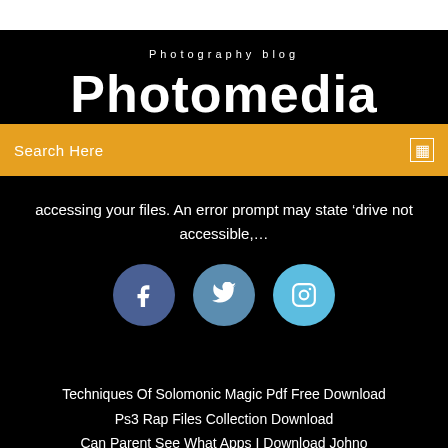Photography blog
Photomedia
Search Here
accessing your files. An error prompt may state ‘drive not accessible,…
[Figure (illustration): Three circular social media icons: Facebook (dark blue), Twitter (medium blue), Instagram (light blue)]
Techniques Of Solomonic Magic Pdf Free Download
Ps3 Rap Files Collection Download
Can Parent See What Apps I Download Johno